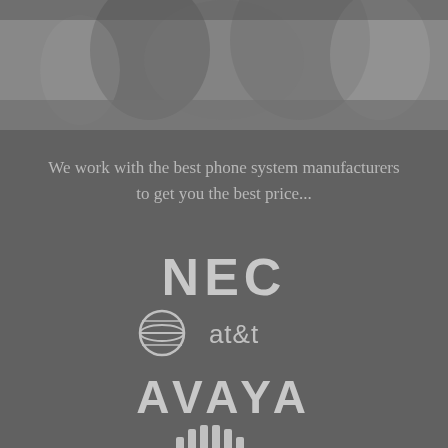[Figure (photo): Blurred grayscale background photo of people or office environment at the top of the page]
We work with the best phone system manufacturers to get you the best price...
[Figure (logo): NEC logo in large bold gray letters]
[Figure (logo): AT&T logo with globe icon and at&t text in gray]
[Figure (logo): AVAYA logo in large bold gray letters]
[Figure (logo): Cisco logo with signal bars icon and CISCO text in gray]